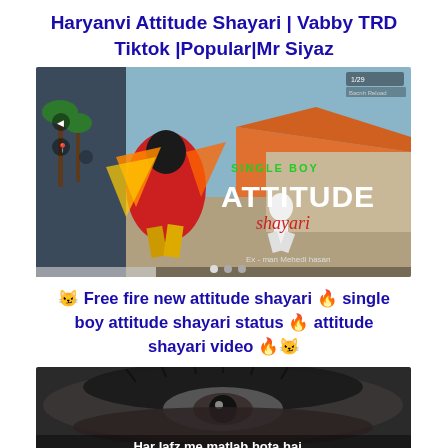Haryanvi Attitude Shayari | Vabby TRD Tiktok |Popular|Mr Siyaz
[Figure (screenshot): Thumbnail image of a Free Fire game scene with 'SINGLE BOY ATTITUDE shayari' text overlaid, featuring a player character in action. Text 'Ex - man Mehedi hasan' visible at bottom right.]
🐱 Free fire new attitude shayari 🔥 single boy attitude shayari status 🔥 attitude shayari video 🔥🐱
[Figure (photo): Partial image of a close-up eye (black and white), with text 'Har lafz me matlab hota hai...' visible at the bottom.]